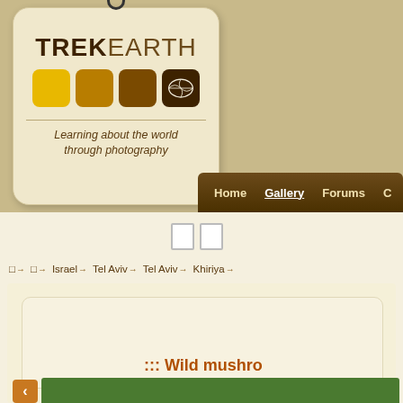[Figure (logo): TrekEarth logo tag with colored squares and world map icon, tagline 'Learning about the world through photography']
Home   Gallery   Forums   C...
□ □
□→  □→  Israel→  Tel Aviv→  Tel Aviv→  Khiriya→
::: Wild mushro...